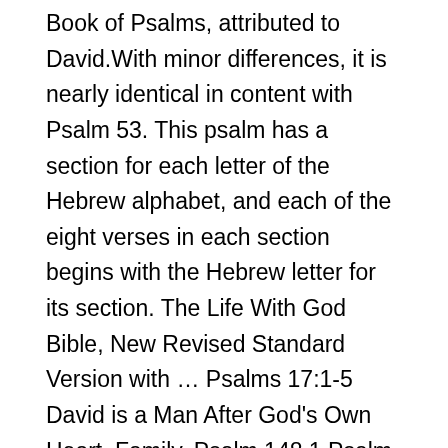Book of Psalms, attributed to David.With minor differences, it is nearly identical in content with Psalm 53. This psalm has a section for each letter of the Hebrew alphabet, and each of the eight verses in each section begins with the Hebrew letter for its section. The Life With God Bible, New Revised Standard Version with … Psalms 17:1-5 David is a Man After God's Own Heart. Family. Psalm 148 1 Psalm 148 1 Praise the LORD. Psalm 1: BOOK I . Psalm 147 1 Psalm 147 1 Praise the LORD. Hallelujah Praise him for his mighty acts: praise him according to his excellent grea Sing unto the LORD a new song, and his praise in the congregation of saints. A psalm of praise. The next step is to choose a monthly or yearly subscription, and then enter your payment information. Praise the LORD from the heavens, praise him in the heights above. 20 Proverbs 15; 04 Numbers 4-7; 19 Psalms 105-106; 40